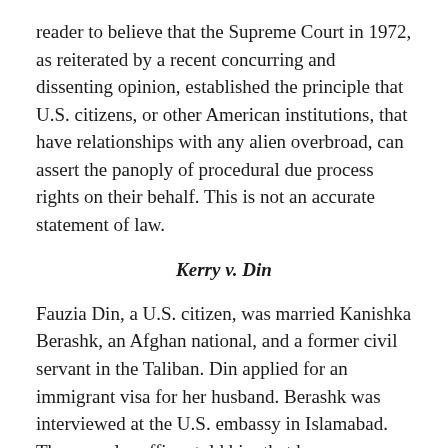reader to believe that the Supreme Court in 1972, as reiterated by a recent concurring and dissenting opinion, established the principle that U.S. citizens, or other American institutions, that have relationships with any alien overbroad, can assert the panoply of procedural due process rights on their behalf. This is not an accurate statement of law.
Kerry v. Din
Fauzia Din, a U.S. citizen, was married Kanishka Berashk, an Afghan national, and a former civil servant in the Taliban. Din applied for an immigrant visa for her husband. Berashk was interviewed at the U.S. embassy in Islamabad. The consular officer told him that he was inadmissible under 8 U.S.C. § 1182(a)(3)(B), which deems inadmissible aliens who had engaged in "terrorist activities." Berashk was not given any reason for the denial beyond the citation to 8